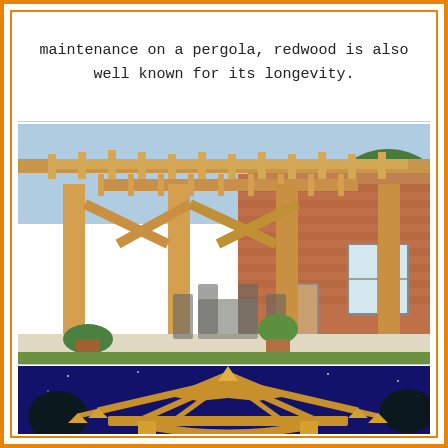maintenance on a pergola, redwood is also well known for its longevity.
[Figure (photo): A large wooden redwood pergola attached to a brick house, covering an outdoor patio area with dining furniture and potted plants.]
[Figure (photo): A wooden gazebo or pergola structure with decorative curved rafters, photographed at night against a deep blue sky.]